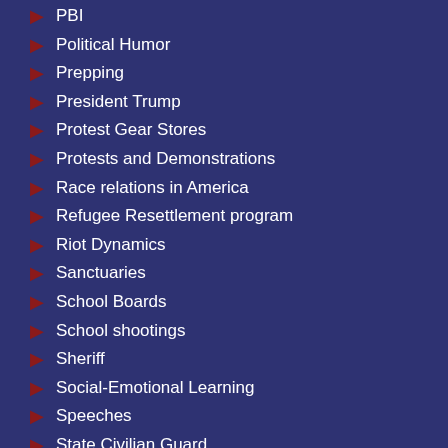PBI
Political Humor
Prepping
President Trump
Protest Gear Stores
Protests and Demonstrations
Race relations in America
Refugee Resettlement program
Riot Dynamics
Sanctuaries
School Boards
School shootings
Sheriff
Social-Emotional Learning
Speeches
State Civilian Guard
Stop the mandates